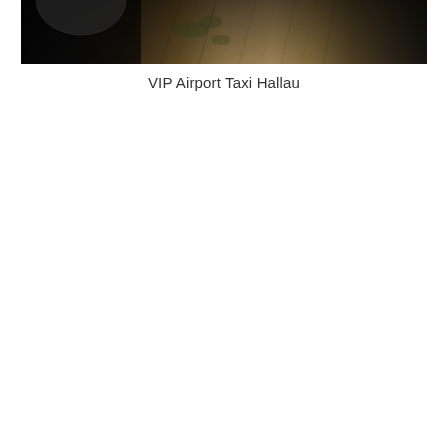[Figure (photo): Partial photo showing a dark background on the left with a mossy or textured wooden/stone surface on the right, cropped at the top of the page]
VIP Airport Taxi Hallau